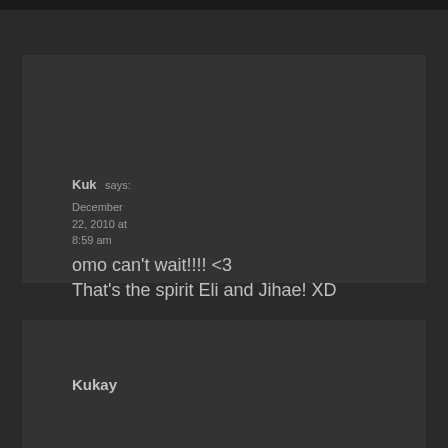Kuk says:
December 22, 2010 at 8:59 am
omo can't wait!!!! <3
That's the spirit Eli and Jihae! XD
Kukay
says:
December